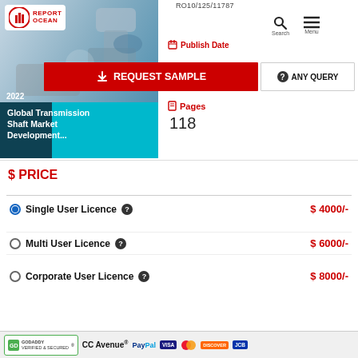RO10/125/11787
[Figure (screenshot): Report Ocean logo and industrial machinery/robot arm background image with teal bottom section showing report title]
2022 Global Transmission Shaft Market Development...
REQUEST SAMPLE
ANY QUERY
Publish Date
Pages
118
$ PRICE
Single User Licence  $ 4000/-
Multi User Licence  $ 6000/-
Corporate User Licence  $ 8000/-
GODADDY VERIFIED & SECURED | CC-Avenue | PayPal | VISA | Mastercard | DISCOVER | JCB